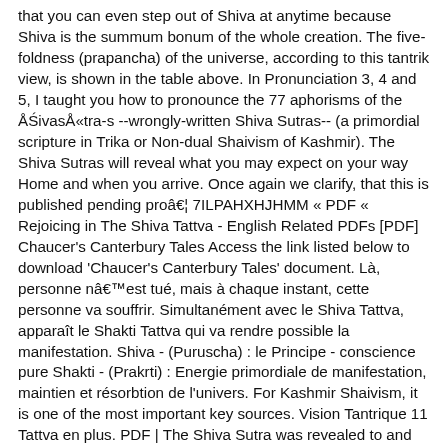that you can even step out of Shiva at anytime because Shiva is the summum bonum of the whole creation. The five-foldness (prapancha) of the universe, according to this tantrik view, is shown in the table above. In Pronunciation 3, 4 and 5, I taught you how to pronounce the 77 aphorisms of the ÅŚivasÅ«tra-s --wrongly-written Shiva Sutras-- (a primordial scripture in Trika or Non-dual Shaivism of Kashmir). The Shiva Sutras will reveal what you may expect on your way Home and when you arrive. Once again we clarify, that this is published pending proâ€¦ 7ILPAHXHJHMM « PDF « Rejoicing in The Shiva Tattva - English Related PDFs [PDF] Chaucer's Canterbury Tales Access the link listed below to download 'Chaucer's Canterbury Tales' document. Là, personne nâ€™est tué, mais à chaque instant, cette personne va souffrir. Simultanément avec le Shiva Tattva, apparaît le Shakti Tattva qui va rendre possible la manifestation. Shiva - (Puruscha) : le Principe - conscience pure Shakti - (Prakrti) : Energie primordiale de manifestation, maintien et résorbtion de l'univers. For Kashmir Shaivism, it is one of the most important key sources. Vision Tantrique 11 Tattva en plus. PDF | The Shiva Sutra was revealed to and written down by Vasugupta (ca 875--925 CE). concept of â€˜Shiva Tattvaâ€™, the symbolic abode of Shiva in the